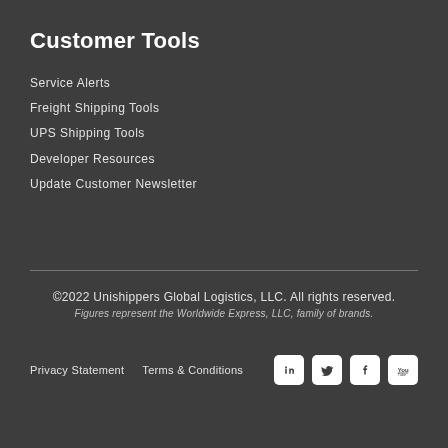Customer Tools
Service Alerts
Freight Shipping Tools
UPS Shipping Tools
Developer Resources
Update Customer Newsletter
©2022 Unishippers Global Logistics, LLC. All rights reserved.
Figures represent the Worldwide Express, LLC, family of brands.
Privacy Statement   Terms & Conditions
[Figure (other): Social media icons: LinkedIn, Twitter, Facebook, YouTube]